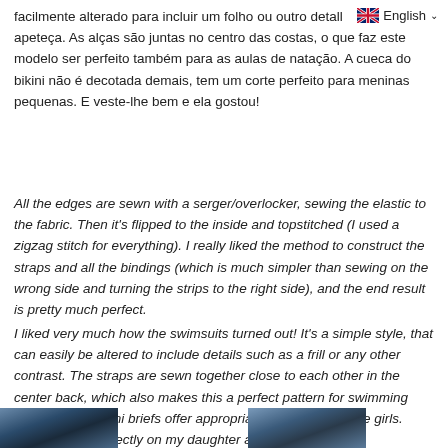facilmente alterado para incluir um folho ou outro detall apeteça. As alças são juntas no centro das costas, o que faz este modelo ser perfeito também para as aulas de natação. A cueca do bikini não é decotada demais, tem um corte perfeito para meninas pequenas. E veste-lhe bem e ela gostou!
All the edges are sewn with a serger/overlocker, sewing the elastic to the fabric. Then it's flipped to the inside and topstitched (I used a zigzag stitch for everything). I really liked the method to construct the straps and all the bindings (which is much simpler than sewing on the wrong side and turning the strips to the right side), and the end result is pretty much perfect.
I liked very much how the swimsuits turned out! It's a simple style, that can easily be altered to include details such as a frill or any other contrast. The straps are sewn together close to each other in the center back, which also makes this a perfect pattern for swimming classes. The bikini briefs offer appropriate coverage for little girls. Overall it fits perfectly on my daughter and she likes it!
[Figure (photo): Two partial photos of swimsuit fabric at the bottom of the page]